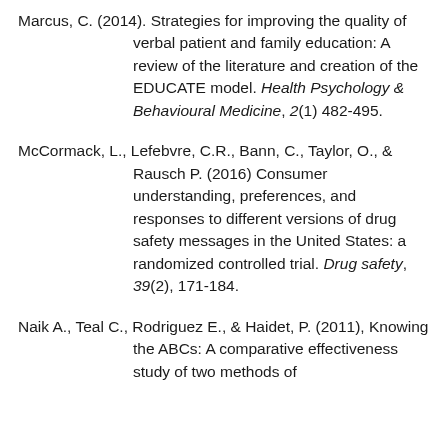Marcus, C. (2014). Strategies for improving the quality of verbal patient and family education: A review of the literature and creation of the EDUCATE model. Health Psychology & Behavioural Medicine, 2(1) 482-495.
McCormack, L., Lefebvre, C.R., Bann, C., Taylor, O., & Rausch P. (2016) Consumer understanding, preferences, and responses to different versions of drug safety messages in the United States: a randomized controlled trial. Drug safety, 39(2), 171-184.
Naik A., Teal C., Rodriguez E., & Haidet, P. (2011), Knowing the ABCs: A comparative effectiveness study of two methods of